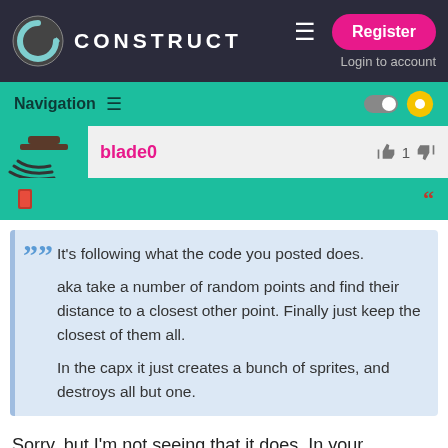CONSTRUCT — Register / Login to account
Navigation
blade0  👍 1 👎
It's following what the code you posted does.

aka take a number of random points and find their distance to a closest other point. Finally just keep the closest of them all.

In the capx it just creates a bunch of sprites, and destroys all but one.
Sorry, but I'm not seeing that it does. In your example (viewing in IE), if I change 'Repeat 200' to